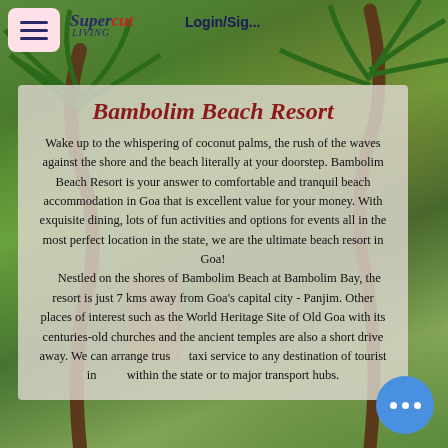Supercut Living  Login/Sig...
Bambolim Beach Resort
Wake up to the whispering of coconut palms, the rush of the waves against the shore and the beach literally at your doorstep. Bambolim Beach Resort is your answer to comfortable and tranquil beach accommodation in Goa that is excellent value for your money. With exquisite dining, lots of fun activities and options for events all in the most perfect location in the state, we are the ultimate beach resort in Goa! Nestled on the shores of Bambolim Beach at Bambolim Bay, the resort is just 7 kms away from Goa's capital city - Panjim. Other places of interest such as the World Heritage Site of Old Goa with its centuries-old churches and the ancient temples are also a short drive away. We can arrange trusted taxi service to any destination of tourist interest within the state or to major transport hubs.